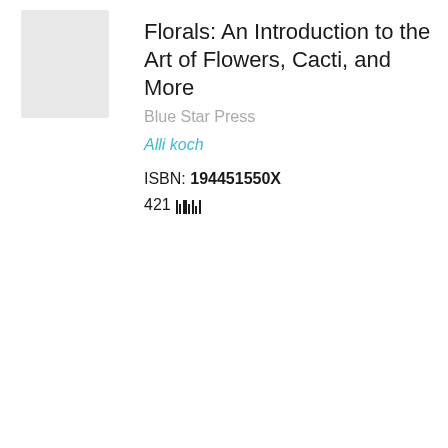Florals: An Introduction to the Art of Flowers, Cacti, and More
Blue Star Press
Alli koch
ISBN: 194451550X
421
Cambridge IGCSE® English
HarperCollins Publishers Limited
Collins